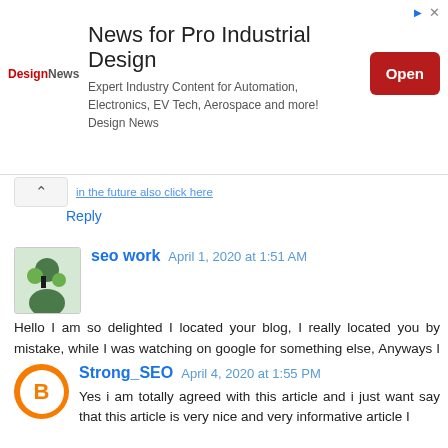[Figure (other): Advertisement banner for DesignNews - News for Pro Industrial Design. Expert Industry Content for Automation, Electronics, EV Tech, Aerospace and more! Design News. With an Open button.]
in the future also click here
Reply
seo work  April 1, 2020 at 1:51 AM
Hello I am so delighted I located your blog, I really located you by mistake, while I was watching on google for something else, Anyways I am here now and could just like to say thank for a tremendous post and a all round entertaining website. Please do keep up the great work. Headbanger Lures
Reply
Strong_SEO  April 4, 2020 at 1:55 PM
Yes i am totally agreed with this article and i just want say that this article is very nice and very informative article I